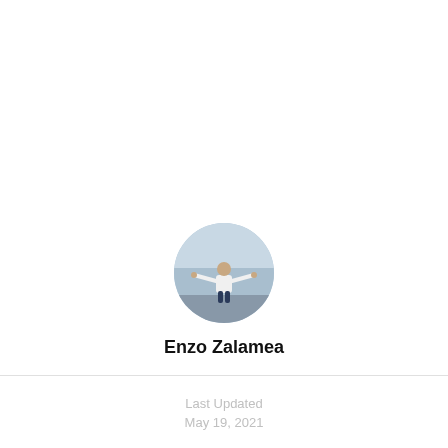[Figure (photo): Circular profile photo of a person in a white hoodie with arms outstretched, outdoors near water]
Enzo Zalamea
Last Updated
May 19, 2021